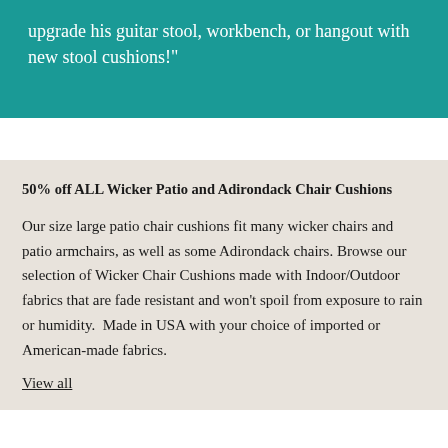upgrade his guitar stool, workbench, or hangout with new stool cushions!"
50% off ALL Wicker Patio and Adirondack Chair Cushions
Our size large patio chair cushions fit many wicker chairs and patio armchairs, as well as some Adirondack chairs. Browse our selection of Wicker Chair Cushions made with Indoor/Outdoor fabrics that are fade resistant and won't spoil from exposure to rain or humidity.  Made in USA with your choice of imported or American-made fabrics.
View all